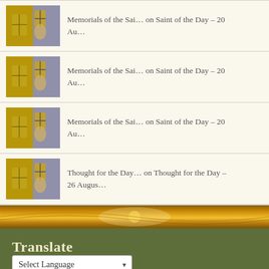Memorials of the Sai… on Saint of the Day – 20 Au…
Memorials of the Sai… on Saint of the Day – 20 Au…
Memorials of the Sai… on Saint of the Day – 20 Au…
Thought for the Day… on Thought for the Day – 26 Augus…
[Figure (illustration): Golden decorative banner with ornamental design]
Translate
Select Language